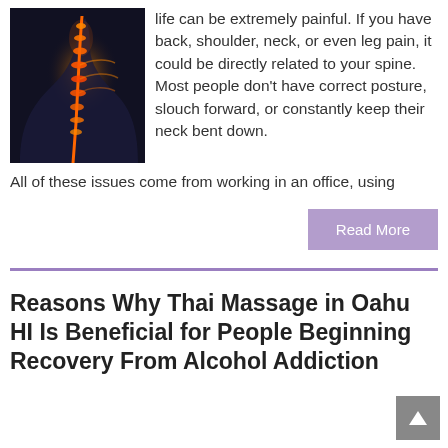[Figure (photo): X-ray style illustration of a human spine/neck glowing orange on a dark background, viewed from the side/rear]
life can be extremely painful. If you have back, shoulder, neck, or even leg pain, it could be directly related to your spine. Most people don't have correct posture, slouch forward, or constantly keep their neck bent down. All of these issues come from working in an office, using
Read More
Reasons Why Thai Massage in Oahu HI Is Beneficial for People Beginning Recovery From Alcohol Addiction